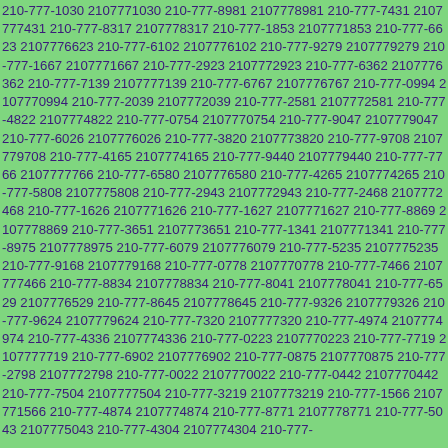210-777-1030 2107771030 210-777-8981 2107778981 210-777-7431 2107777431 210-777-8317 2107778317 210-777-1853 2107771853 210-777-6623 2107776623 210-777-6102 2107776102 210-777-9279 2107779279 210-777-1667 2107771667 210-777-2923 2107772923 210-777-6362 2107776362 210-777-7139 2107777139 210-777-6767 2107776767 210-777-0994 2107770994 210-777-2039 2107772039 210-777-2581 2107772581 210-777-4822 2107774822 210-777-0754 2107770754 210-777-9047 2107779047 210-777-6026 2107776026 210-777-3820 2107773820 210-777-9708 2107779708 210-777-4165 2107774165 210-777-9440 2107779440 210-777-7766 2107777766 210-777-6580 2107776580 210-777-4265 2107774265 210-777-5808 2107775808 210-777-2943 2107772943 210-777-2468 2107772468 210-777-1626 2107771626 210-777-1627 2107771627 210-777-8869 2107778869 210-777-3651 2107773651 210-777-1341 2107771341 210-777-8975 2107778975 210-777-6079 2107776079 210-777-5235 2107775235 210-777-9168 2107779168 210-777-0778 2107770778 210-777-7466 2107777466 210-777-8834 2107778834 210-777-8041 2107778041 210-777-6529 2107776529 210-777-8645 2107778645 210-777-9326 2107779326 210-777-9624 2107779624 210-777-7320 2107777320 210-777-4974 2107774974 210-777-4336 2107774336 210-777-0223 2107770223 210-777-7719 2107777719 210-777-6902 2107776902 210-777-0875 2107770875 210-777-2798 2107772798 210-777-0022 2107770022 210-777-0442 2107770442 210-777-7504 2107777504 210-777-3219 2107773219 210-777-1566 2107771566 210-777-4874 2107774874 210-777-8771 2107778771 210-777-5043 2107775043 210-777-4304 2107774304 210-777-